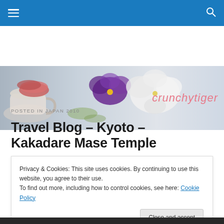crunchytiger — navigation bar with hamburger menu and search icon
[Figure (photo): Blog banner image showing a teacup with macarons and purple/white pansy flowers on a light background, with the blog name 'crunchytiger' in pink cursive lettering on the right]
POSTED IN JAPAN 2010
Travel Blog – Kyoto – Kakadare Mase Temple
Privacy & Cookies: This site uses cookies. By continuing to use this website, you agree to their use.
To find out more, including how to control cookies, see here: Cookie Policy

[Close and accept]